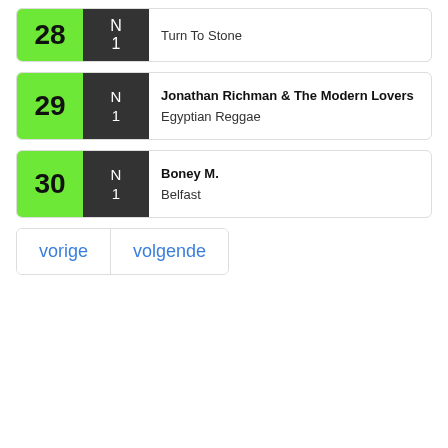28 | N | 1 | Turn To Stone
29 | N | 1 | Jonathan Richman & The Modern Lovers | Egyptian Reggae
30 | N | 1 | Boney M. | Belfast
vorige  volgende